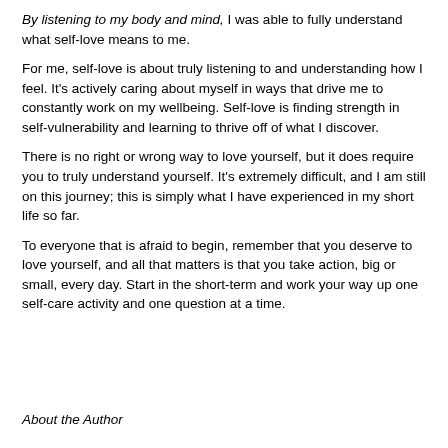By listening to my body and mind, I was able to fully understand what self-love means to me.
For me, self-love is about truly listening to and understanding how I feel. It's actively caring about myself in ways that drive me to constantly work on my wellbeing. Self-love is finding strength in self-vulnerability and learning to thrive off of what I discover.
There is no right or wrong way to love yourself, but it does require you to truly understand yourself. It's extremely difficult, and I am still on this journey; this is simply what I have experienced in my short life so far.
To everyone that is afraid to begin, remember that you deserve to love yourself, and all that matters is that you take action, big or small, every day. Start in the short-term and work your way up one self-care activity and one question at a time.
About the Author